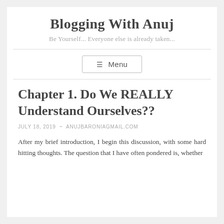Blogging With Anuj
Be Yourself... Everyone else is already taken...
☰ Menu
Chapter 1. Do We REALLY Understand Ourselves??
JULY 18, 2019 ~ ANUJBARONIAGMAIL.COM
After my brief introduction, I begin this discussion, with some hard hitting thoughts. The question that I have often pondered is, whether